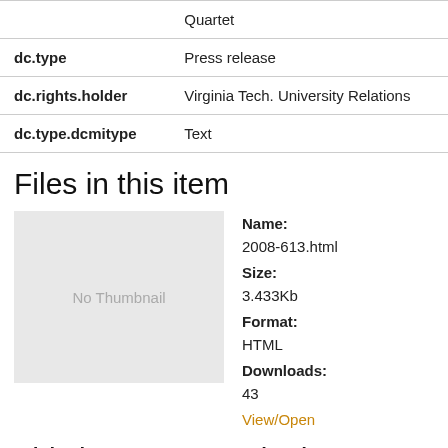|  | Quartet |
| dc.type | Press release |
| dc.rights.holder | Virginia Tech. University Relations |
| dc.type.dcmitype | Text |
Files in this item
[Figure (other): No Thumbnail placeholder image]
Name:
2008-613.html
Size:
3.433Kb
Format:
HTML
Downloads:
43
View/Open
This item appears in the following